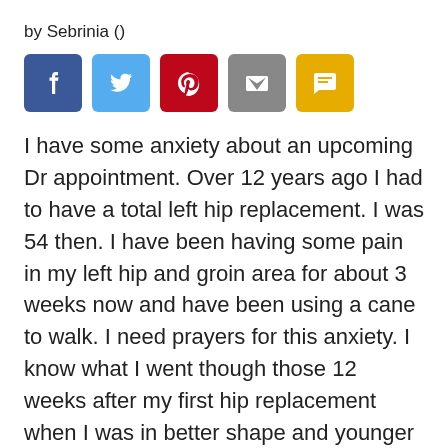by Sebrinia ()
[Figure (other): Row of five social sharing icon buttons: Facebook (blue), Twitter (light blue), Pinterest (red), Email (grey), SMS (yellow)]
I have some anxiety about an upcoming Dr appointment. Over 12 years ago I had to have a total left hip replacement. I was 54 then. I have been having some pain in my left hip and groin area for about 3 weeks now and have been using a cane to walk. I need prayers for this anxiety. I know what I went though those 12 weeks after my first hip replacement when I was in better shape and younger than I am today. I need the peace of God in my heart and head for this upcoming battle. I know Jesus will never leave me or forsake me and I know He has not given me a spirit of fear, but of love and power and a sound mind and I know we can come